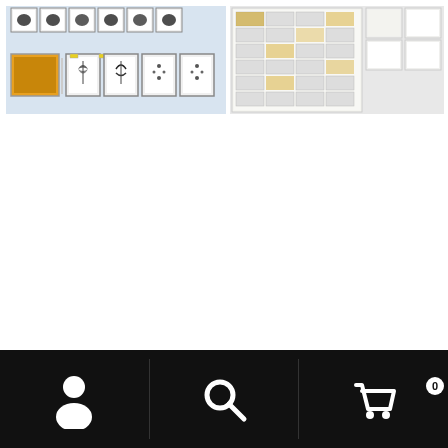[Figure (photo): Photo of multiple framed insect/butterfly specimens and display boards laid out on a white surface, including some with orange/yellow backgrounds]
[Figure (photo): Photo of framed insect/specimen collection boards with small labeled specimens arranged in grid patterns, displayed on white surface]
[Figure (infographic): Bottom navigation bar with user/account icon, search icon, and shopping cart icon with badge showing 0]